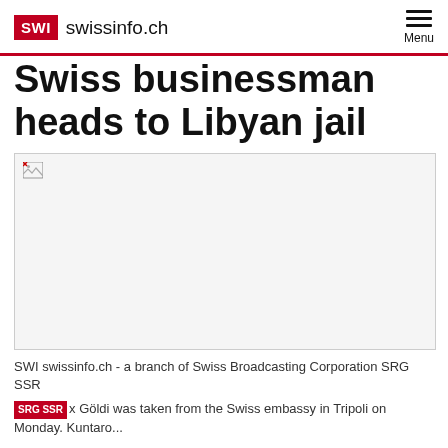SWI swissinfo.ch  Menu
Swiss businessman heads to Libyan jail
[Figure (photo): Broken/unloaded image placeholder — a photo associated with the article about a Swiss businessman going to a Libyan jail]
SWI swissinfo.ch - a branch of Swiss Broadcasting Corporation SRG SSR
SRG SSR x Göldi was taken from the Swiss embassy in Tripoli on Monday. Kuntaro...